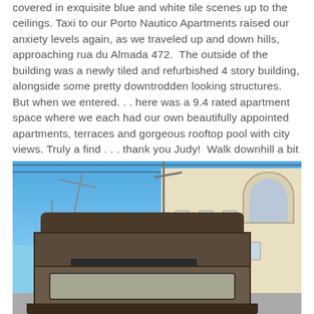covered in exquisite blue and white tile scenes up to the ceilings. Taxi to our Porto Nautico Apartments raised our anxiety levels again, as we traveled up and down hills, approaching rua du Almada 472. The outside of the building was a newly tiled and refurbished 4 story building, alongside some pretty downtrodden looking structures. But when we entered... here was a 9.4 rated apartment space where we each had our own beautifully appointed apartments, terraces and gorgeous rooftop pool with city views. Truly a find . . . thank you Judy! Walk downhill a bit and we were in the center of everything, including restaurants, churches, shops galore, and another favorite Trolley stop.
[Figure (photo): A vintage tram (Carreira No. 28) on a street in Porto, with a yellow/cream colored historic building in the background against a clear blue sky. Overhead wires and street lights visible.]